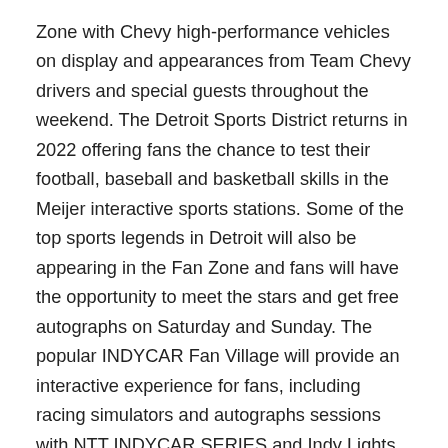Zone with Chevy high-performance vehicles on display and appearances from Team Chevy drivers and special guests throughout the weekend. The Detroit Sports District returns in 2022 offering fans the chance to test their football, baseball and basketball skills in the Meijer interactive sports stations. Some of the top sports legends in Detroit will also be appearing in the Fan Zone and fans will have the opportunity to meet the stars and get free autographs on Saturday and Sunday. The popular INDYCAR Fan Village will provide an interactive experience for fans, including racing simulators and autographs sessions with NTT INDYCAR SERIES and Indy Lights Presented by Cooper Tires drivers.
The Grand Prix Legacy display in the Meijer Fan Zone...